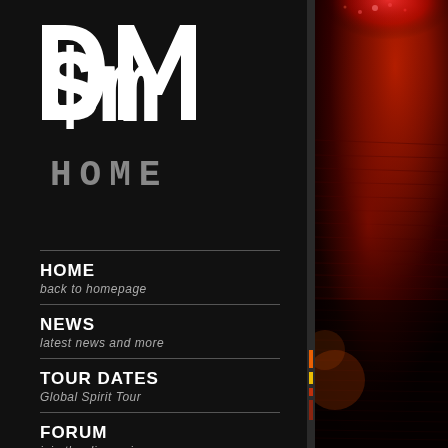[Figure (logo): Depeche Mode DM handwritten-style logo in white on black background]
HOME
HOME
back to homepage
NEWS
latest news and more
TOUR DATES
Global Spirit Tour
FORUM
join the discussion
TWITTER
the Home crew on Twitter
[Figure (photo): Dark red concert/venue photo showing crowd or stage with dramatic red lighting and textured surfaces]